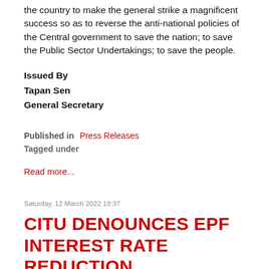the country to make the general strike a magnificent success so as to reverse the anti-national policies of the Central government to save the nation; to save the Public Sector Undertakings; to save the people.
Issued By
Tapan Sen
General Secretary
Published in  Press Releases
Tagged under
Read more...
Saturday, 12 March 2022 19:37
CITU DENOUNCES EPF INTEREST RATE REDUCTION